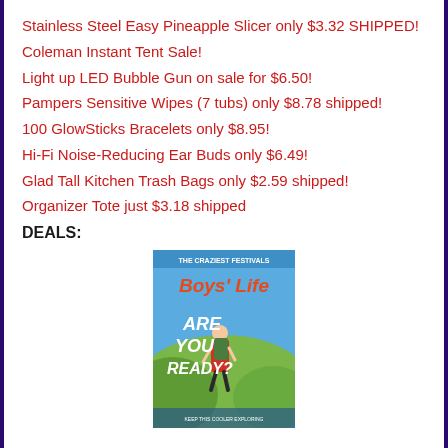Stainless Steel Easy Pineapple Slicer only $3.32 SHIPPED!
Coleman Instant Tent Sale!
Light up LED Bubble Gun on sale for $6.50!
Pampers Sensitive Wipes (7 tubs) only $8.78 shipped!
100 GlowSticks Bracelets only $8.95!
Hi-Fi Noise-Reducing Ear Buds only $6.49!
Glad Tall Kitchen Trash Bags only $2.59 shipped!
Organizer Tote just $3.18 shipped
DEALS:
[Figure (illustration): Boys' Life magazine cover showing a boy hiking with a backpack, text reads 'THE CRAZIEST FESTIVALS Boys Life ARE YOU READY?']